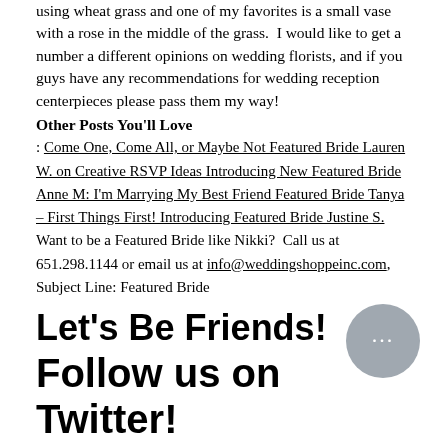using wheat grass and one of my favorites is a small vase with a rose in the middle of the grass.  I would like to get a number a different opinions on wedding florists, and if you guys have any recommendations for wedding reception centerpieces please pass them my way!
Other Posts You'll Love
: Come One, Come All, or Maybe Not Featured Bride Lauren W. on Creative RSVP Ideas Introducing New Featured Bride Anne M: I'm Marrying My Best Friend Featured Bride Tanya – First Things First! Introducing Featured Bride Justine S. Want to be a Featured Bride like Nikki?  Call us at 651.298.1144 or email us at info@weddingshoppeinc.com, Subject Line: Featured Bride
Let's Be Friends!
Follow us on Twitter!
Leave a comment
LC